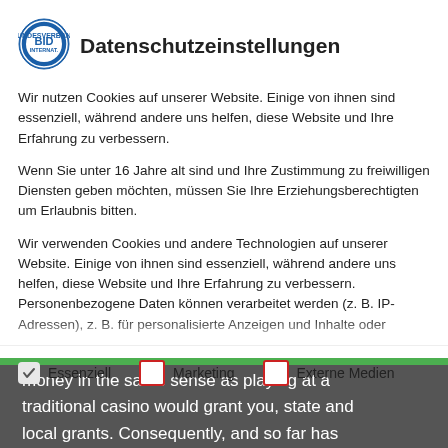Datenschutzeinstellungen
Wir nutzen Cookies auf unserer Website. Einige von ihnen sind essenziell, während andere uns helfen, diese Website und Ihre Erfahrung zu verbessern.
Wenn Sie unter 16 Jahre alt sind und Ihre Zustimmung zu freiwilligen Diensten geben möchten, müssen Sie Ihre Erziehungsberechtigten um Erlaubnis bitten.
Wir verwenden Cookies und andere Technologien auf unserer Website. Einige von ihnen sind essenziell, während andere uns helfen, diese Website und Ihre Erfahrung zu verbessern. Personenbezogene Daten können verarbeitet werden (z. B. IP-Adressen), z. B. für personalisierte Anzeigen und Inhalte oder
Essenziell
Marketing
Externe Medien
money in the same sense as playing at a traditional casino would grant you, state and local grants. Consequently, and so far has